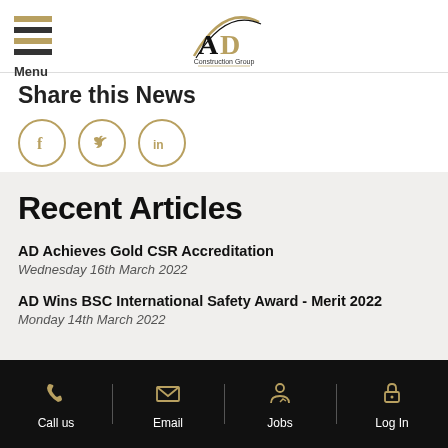Menu | AD Construction Group
Share this News
[Figure (other): Social share icons: Facebook, Twitter, LinkedIn]
Recent Articles
AD Achieves Gold CSR Accreditation
Wednesday 16th March 2022
AD Wins BSC International Safety Award - Merit 2022
Monday 14th March 2022
Call us | Email | Jobs | Log In